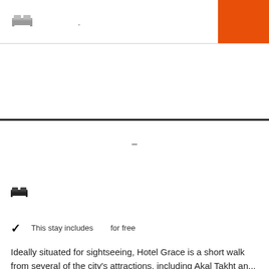[Figure (illustration): Bed icon and dash text in header with orange box in top right corner]
This stay includes for free
Ideally situated for sightseeing, Hotel Grace is a short walk from several of the city's attractions, including Akal Takht an...